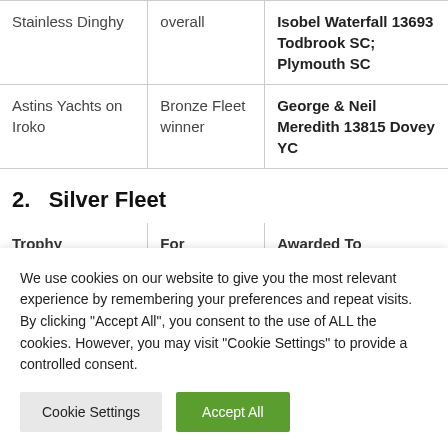| Trophy | For | Awarded To |
| --- | --- | --- |
| Stainless Dinghy | overall | Isobel Waterfall 13693 Todbrook SC; Plymouth SC |
| Astins Yachts on Iroko | Bronze Fleet winner | George & Neil Meredith 13815 Dovey YC |
2.   Silver Fleet
| Trophy | For | Awarded To |
| --- | --- | --- |
We use cookies on our website to give you the most relevant experience by remembering your preferences and repeat visits. By clicking "Accept All", you consent to the use of ALL the cookies. However, you may visit "Cookie Settings" to provide a controlled consent.